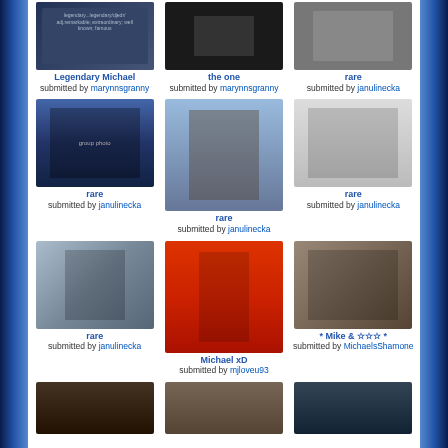[Figure (photo): Photo - Legendary Michael, dark background with text]
Legendary Michael
submitted by marynnsgranny
[Figure (photo): Photo - the one, dark background]
the one
submitted by marynnsgranny
[Figure (photo): Photo - rare]
rare
submitted by janulinecka
[Figure (photo): Photo - rare, group of people in formal wear]
rare
submitted by janulinecka
[Figure (photo): Photo - rare, person with children]
rare
submitted by janulinecka
[Figure (photo): Photo - rare, black and white newspaper photo]
rare
submitted by janulinecka
[Figure (photo): Photo - rare, person walking indoors]
rare
submitted by janulinecka
[Figure (photo): Photo - Michael xD, performer in red jacket dancing]
Michael xD
submitted by mjloveu93
[Figure (photo): Photo - Mike & stars, two people posing]
* Mike & ☆☆☆ *
submitted by MichaelsShamone
[Figure (photo): Photo bottom left partial]
[Figure (photo): Photo bottom center partial]
[Figure (photo): Photo bottom right partial]